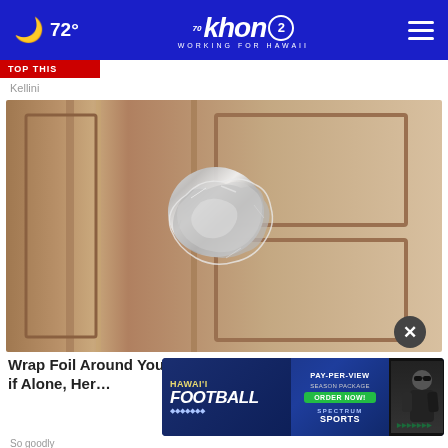72° khon2 WORKING FOR HAWAII
Kellini
[Figure (photo): Close-up photo of a door knob wrapped in aluminum foil on a wooden door]
Wrap Foil Around Your Doorknob at Night if Alone, Here's Why
[Figure (infographic): Advertisement banner for Hawaii Football Pay-Per-View Season Package from Spectrum Sports with Order Now button]
So goodly